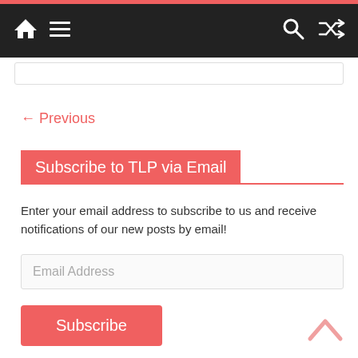Navigation bar with home, menu, search, and shuffle icons
← Previous
Subscribe to TLP via Email
Enter your email address to subscribe to us and receive notifications of our new posts by email!
Email Address
Subscribe